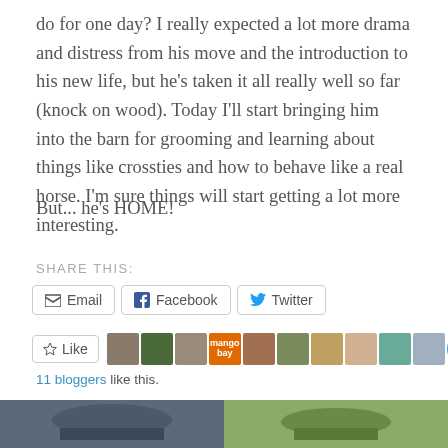do for one day? I really expected a lot more drama and distress from his move and the introduction to his new life, but he's taken it all really well so far (knock on wood). Today I'll start bringing him into the barn for grooming and learning about things like crossties and how to behave like a real horse. I'm sure things will start getting a lot more interesting.
But... he's HOME!
SHARE THIS:
Email  Facebook  Twitter
Like
11 bloggers like this.
[Figure (photo): Two small thumbnail photos at the bottom of the page showing horses and riders]